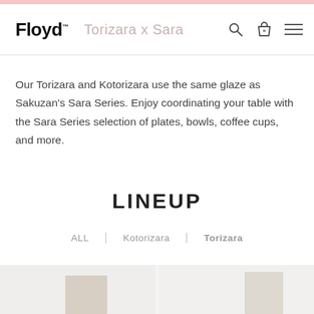Floyd™  Torizara x Sara
Our Torizara and Kotorizara use the same glaze as Sakuzan's Sara Series. Enjoy coordinating your table with the Sara Series selection of plates, bowls, coffee cups, and more.
LINEUP
ALL  |  Kotorizara  |  Torizara
[Figure (photo): Two product boxes shown side by side on a light background — left box is a smaller beige ceramic box, right box is a taller beige/cream ceramic box]